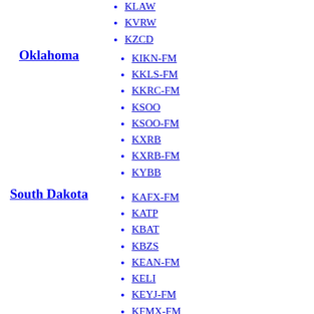KLAW
KVRW
KZCD
Oklahoma
KIKN-FM
KKLS-FM
KKRC-FM
KSOO
KSOO-FM
KXRB
KXRB-FM
KYBB
South Dakota
KAFX-FM
KATP
KBAT
KBZS
KEAN-FM
KELI
KEYJ-FM
KFMX-FM
KFYO
KGKL
KGKL-FM